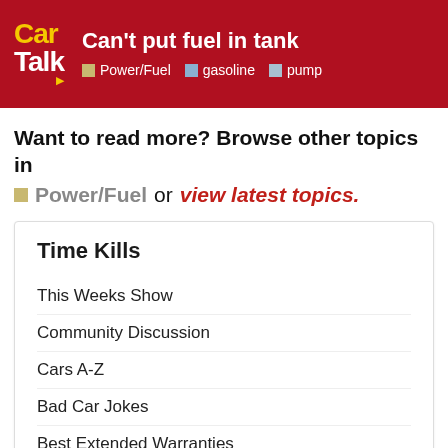Can't put fuel in tank | Power/Fuel | gasoline | pump
Want to read more? Browse other topics in Power/Fuel or view latest topics.
Time Kills
This Weeks Show
Community Discussion
Cars A-Z
Bad Car Jokes
Best Extended Warranties
Our Plate Collection